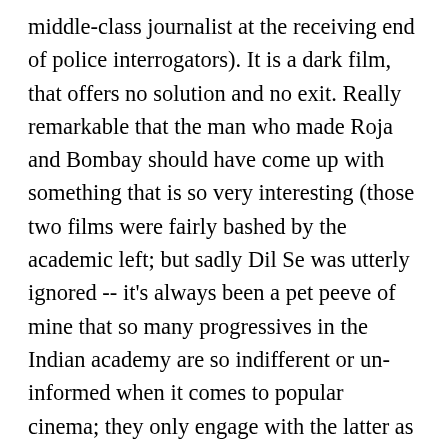middle-class journalist at the receiving end of police interrogators). It is a dark film, that offers no solution and no exit. Really remarkable that the man who made Roja and Bombay should have come up with something that is so very interesting (those two films were fairly bashed by the academic left; but sadly Dil Se was utterly ignored -- it's always been a pet peeve of mine that so many progressives in the Indian academy are so indifferent or un-informed when it comes to popular cinema; they only engage with the latter as a symptom of a certain sort of politics, and thus only engage with it at the level of citing